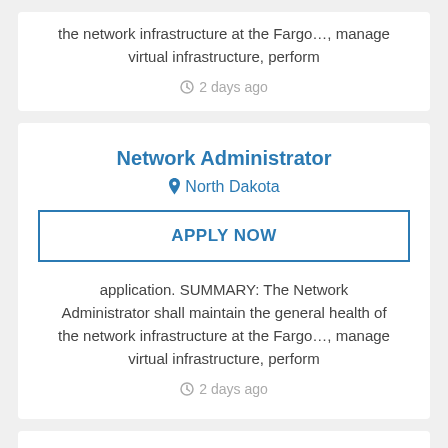the network infrastructure at the Fargo…, manage virtual infrastructure, perform
2 days ago
Network Administrator
North Dakota
APPLY NOW
application. SUMMARY: The Network Administrator shall maintain the general health of the network infrastructure at the Fargo…, manage virtual infrastructure, perform
2 days ago
Network Administrator